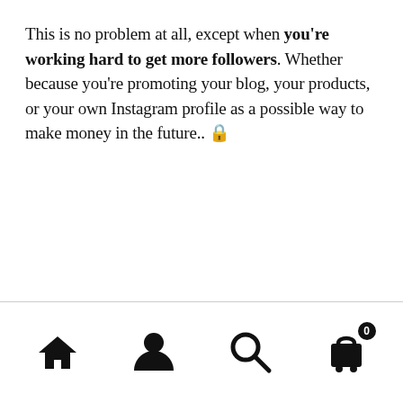This is no problem at all, except when you're working hard to get more followers. Whether because you're promoting your blog, your products, or your own Instagram profile as a possible way to make money in the future.. 🔒
[navigation bar with home, profile, search, and cart icons]